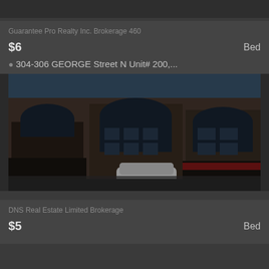Guarantee Pro Realty Inc. Brokerage 460
$6
Bed
304-306 GEORGE Street N Unit# 200,...
[Figure (photo): Exterior photo of a commercial building at 304-306 George Street N, showing a brick facade with arched windows, retail storefronts on ground floor, and a white SUV parked in front.]
DNS Real Estate Limited Brokerage
$5
Bed